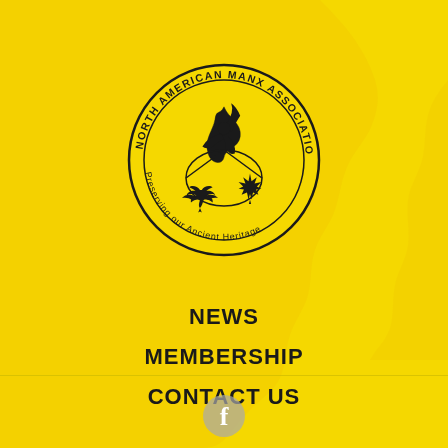[Figure (logo): North American Manx Association circular seal with three-legged Isle of Man symbol at top, bald eagle at bottom left, maple leaf at bottom right, text reading 'NORTH AMERICAN MANX ASSOCIATION' around the top and 'Preserving our Ancient Heritage' around the bottom]
NEWS
MEMBERSHIP
CONTACT US
[Figure (logo): Facebook social media icon (lowercase f in circle)]